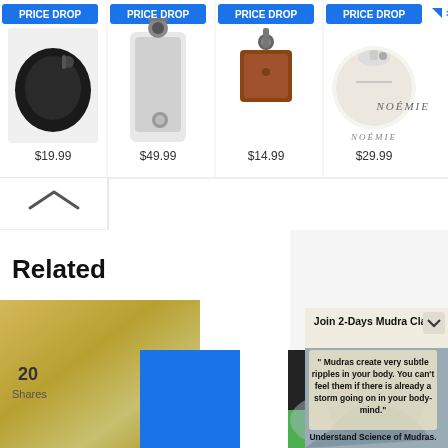[Figure (screenshot): Top ad bar with 4 product items each showing PRICE DROP badge and price: $19.99, $49.99, $14.99, $29.99. Noémie logo on right.]
[Figure (screenshot): Scroll-up chevron button on left side below ad bar]
Related
20
Shares
[Figure (screenshot): Mudra class advertisement popup overlay. Title: Join 2-Days Mudra Class. Quote: Mudras create very subtle ripples in your body. You can't feel them if there is already a storm going on in your body-mind. Subtext: Understand Science of Mudras. Button: Register for Class Now! Footer: * Get early Bird Discount on Registration.]